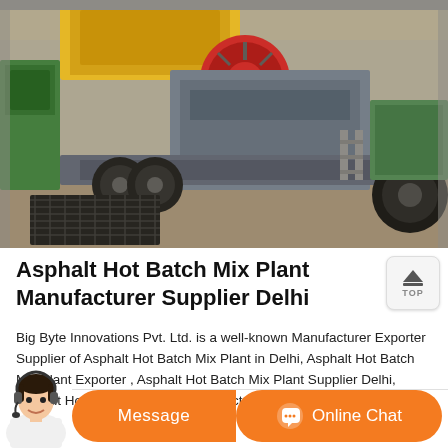[Figure (photo): Industrial asphalt hot batch mix plant machinery with heavy equipment including crushers, conveyor systems, large wheels, and trailers in a factory/outdoor setting.]
Asphalt Hot Batch Mix Plant Manufacturer Supplier Delhi
Big Byte Innovations Pvt. Ltd. is a well-known Manufacturer Exporter Supplier of Asphalt Hot Batch Mix Plant in Delhi, Asphalt Hot Batch Mix Plant Exporter , Asphalt Hot Batch Mix Plant Supplier Delhi, Asphalt Hot Batch Mix Plant Manufacturing Export company in India.